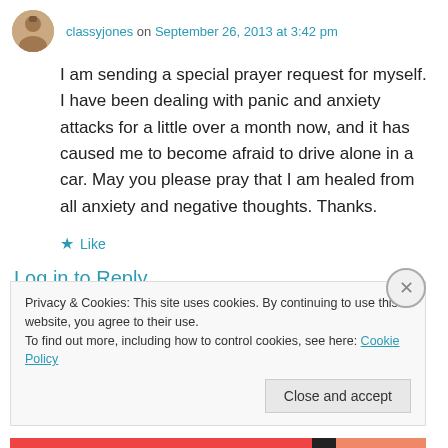classyjones on September 26, 2013 at 3:42 pm
I am sending a special prayer request for myself. I have been dealing with panic and anxiety attacks for a little over a month now, and it has caused me to become afraid to drive alone in a car. May you please pray that I am healed from all anxiety and negative thoughts. Thanks.
★ Like
Log in to Reply
Privacy & Cookies: This site uses cookies. By continuing to use this website, you agree to their use.
To find out more, including how to control cookies, see here: Cookie Policy
Close and accept